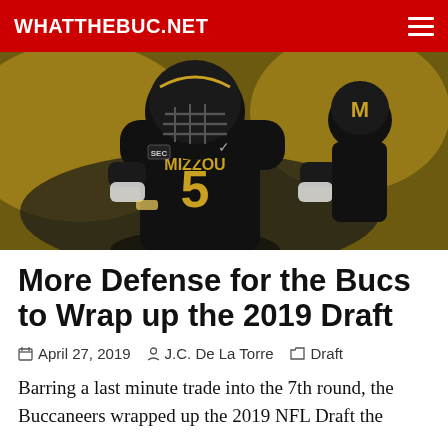WHATTHEBUC.NET
[Figure (photo): Football player wearing Mizzou #5 black jersey and helmet, hands on hips, with another player in background]
More Defense for the Bucs to Wrap up the 2019 Draft
April 27, 2019   J.C. De La Torre   Draft
Barring a last minute trade into the 7th round, the Buccaneers wrapped up the 2019 NFL Draft the